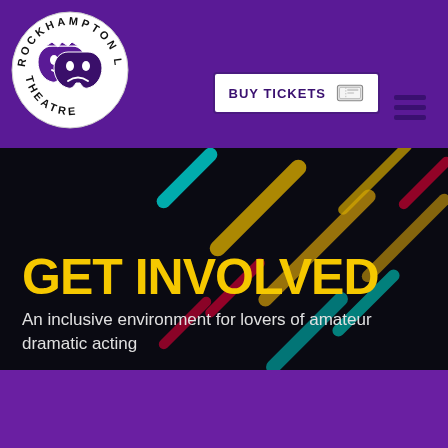[Figure (logo): Rockhampton Little Theatre circular logo with drama masks in purple on white circle background]
BUY TICKETS
[Figure (other): Hamburger menu icon with three horizontal dark purple lines]
GET INVOLVED
An inclusive environment for lovers of amateur dramatic acting